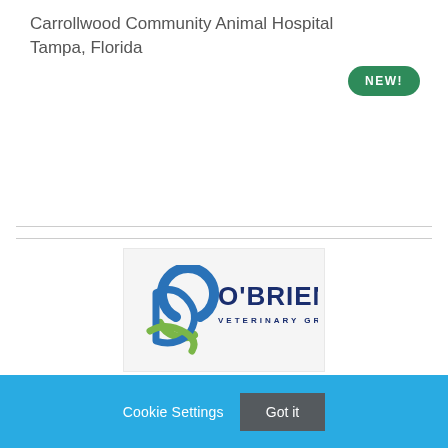Carrollwood Community Animal Hospital
Tampa, Florida
[Figure (logo): O'Brien Veterinary Group logo with blue circular arrow icon and dark blue text]
Cookie Settings   Got it
We use cookies so that we can remember you and understand how you use our site. If you do not agree with our use of cookies, please change the current settings found in our Cookie Policy. Otherwise, you agree to the use of the cookies as they are currently set.